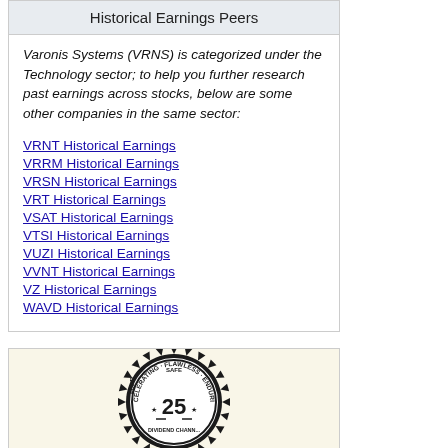Historical Earnings Peers
Varonis Systems (VRNS) is categorized under the Technology sector; to help you further research past earnings across stocks, below are some other companies in the same sector:
VRNT Historical Earnings
VRRM Historical Earnings
VRSN Historical Earnings
VRT Historical Earnings
VSAT Historical Earnings
VTSI Historical Earnings
VUZI Historical Earnings
VVNT Historical Earnings
VZ Historical Earnings
WAVD Historical Earnings
[Figure (logo): SAFE 25 Dividend Channel badge/seal with text SOLID ACCELERATING FLAWLESS ENDURING around the border and DIVIDEND CHANN... at the bottom]